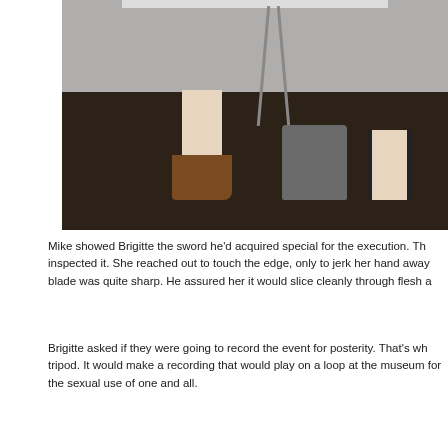[Figure (photo): Photograph showing two people from waist down standing on a dark floor. One person wears brown cowboy boots, the other wears black knee-high socks/boots. A cylindrical log or stump sits between them. A stool with metal legs and a table are visible in the background.]
Mike showed Brigitte the sword he'd acquired special for the execution. Th inspected it. She reached out to touch the edge, only to jerk her hand away blade was quite sharp. He assured her it would slice cleanly through flesh a
Brigitte asked if they were going to record the event for posterity. That's wh tripod. It would make a recording that would play on a loop at the museum for the sexual use of one and all.